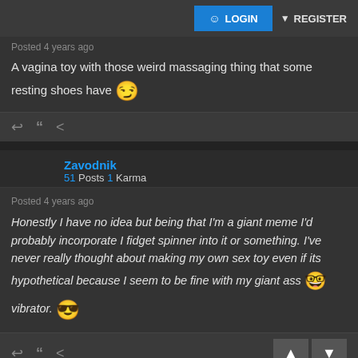LOGIN  REGISTER
Posted 4 years ago
A vagina toy with those weird massaging thing that some resting shoes have 😏
Zavodnik
51 Posts 1 Karma
Posted 4 years ago
Honestly I have no idea but being that I'm a giant meme I'd probably incorporate I fidget spinner into it or something. I've never really thought about making my own sex toy even if its hypothetical because I seem to be fine with my giant ass 😎 vibrator.
fluji